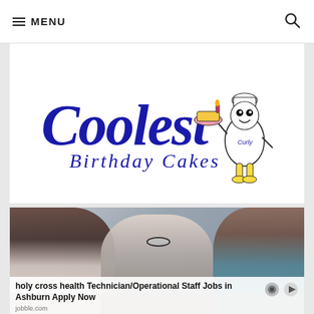≡ MENU
[Figure (logo): Coolest Birthday Cakes logo with stylized blue script text and a cartoon birthday cake character named Curly]
[Figure (photo): Photo of a man in a suit with glasses smiling, flanked by two women with their backs to the camera, in a bright office-like setting]
holy cross health Technician/Operational Staff Jobs in Ashburn Apply Now
jobble.com